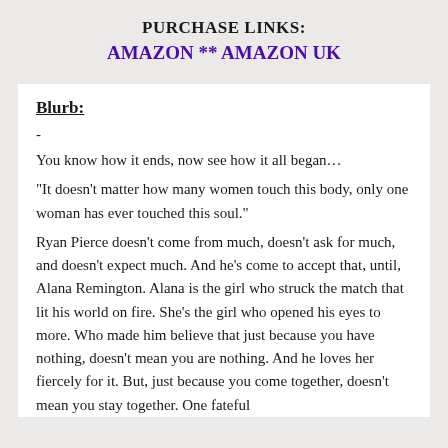PURCHASE LINKS:
AMAZON ** AMAZON UK
Blurb:
-
You know how it ends, now see how it all began…
“It doesn’t matter how many women touch this body, only one woman has ever touched this soul.”
Ryan Pierce doesn’t come from much, doesn’t ask for much, and doesn’t expect much. And he’s come to accept that, until, Alana Remington. Alana is the girl who struck the match that lit his world on fire. She’s the girl who opened his eyes to more. Who made him believe that just because you have nothing, doesn’t mean you are nothing. And he loves her fiercely for it. But, just because you come together, doesn’t mean you stay together. One fateful